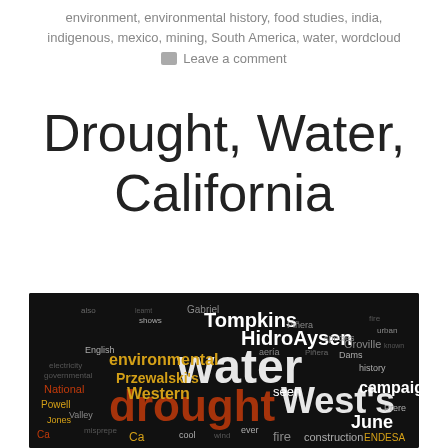environment, environmental history, food studies, india, indigenous, mexico, mining, South America, water, wordcloud
Leave a comment
Drought, Water, California
[Figure (other): Word cloud image on dark background featuring words related to drought, water, and California. Prominent words include: water, drought, West's, Tompkins, HidroAysen, environmental, Przewalski's, Western, campaign, June, seen, National, Powell, Valley, Gabriel, Piñera, Oroville, ENDESA, and many others in varying sizes and colors (white, orange, gold, gray).]